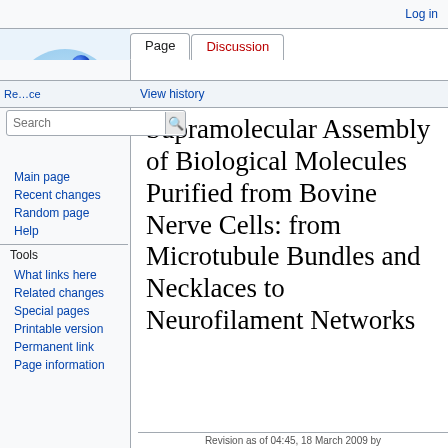Log in
[Figure (illustration): Wikipedia logo showing blue spheres/molecules arranged in a circular bowl shape on a light blue background]
Re...ce
View history
Page
Discussion
Search
Main page
Recent changes
Random page
Help
Tools
What links here
Related changes
Special pages
Printable version
Permanent link
Page information
Supramolecular Assembly of Biological Molecules Purified from Bovine Nerve Cells: from Microtubule Bundles and Necklaces to Neurofilament Networks
Revision as of 04:45, 18 March 2009 by